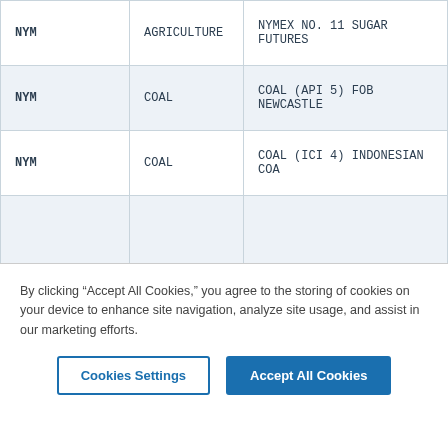|  |  |  |
| --- | --- | --- |
| NYM | AGRICULTURE | NYMEX NO. 11 SUGAR FUTURES |
| NYM | COAL | COAL (API 5) FOB NEWCASTLE |
| NYM | COAL | COAL (ICI 4) INDONESIAN COA |
|  |  |  |
By clicking “Accept All Cookies,” you agree to the storing of cookies on your device to enhance site navigation, analyze site usage, and assist in our marketing efforts.